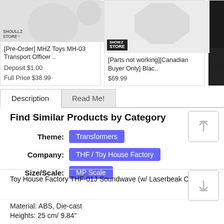[Figure (screenshot): Product card showing MHZ Toys MH-03 Transport Officer with Show Z Store logo]
[Pre-Order] MHZ Toys MH-03 Transport Officer ..
Deposit $1.00
Full Price $38.99
[Figure (screenshot): Product card showing Parts not working Canadian Buyer Only Blac.. with Show.Z Store logo]
[Parts not working][Canadian Buyer Only] Blac..
$69.99
[Figure (photo): Partial product card showing dark image]
[Parts Only] $69.99
Description
Read Me!
Find Similar Products by Category
Theme: Transformers
Company: THF / Toy House Factory
Size/Scale: MP Scale
Toy House Factory THF-01J Soundwave (w/ Laserbeak Only)
Material: ABS, Die-cast
Heights: 25 cm/ 9.84"